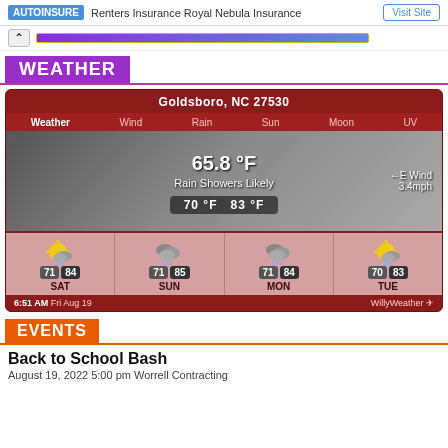Renters Insurance Royal Nebula Insurance
[Figure (screenshot): Weather widget for Goldsboro, NC 27530 showing current temperature 65.8°F, Rain Showers Likely, E Wind 3.4mph, range 70°F / 83°F, and 4-day forecast: SAT 71/84, SUN 71/85, MON 71/84, TUE 70/83. Timestamp: 6:51 AM Fri Aug 19. Source: WillyWeather.]
WEATHER
EVENTS
Back to School Bash
August 19, 2022 5:00 pm Worrell Contracting